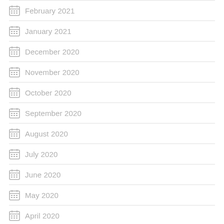February 2021
January 2021
December 2020
November 2020
October 2020
September 2020
August 2020
July 2020
June 2020
May 2020
April 2020
October 2019